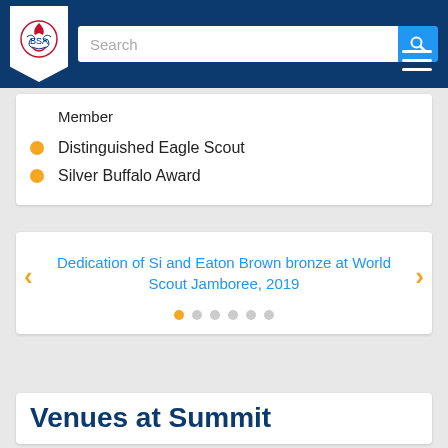BSA website navigation header with logo and search bar
Member
Distinguished Eagle Scout
Silver Buffalo Award
Dedication of Si and Eaton Brown bronze at World Scout Jamboree, 2019
Venues at Summit